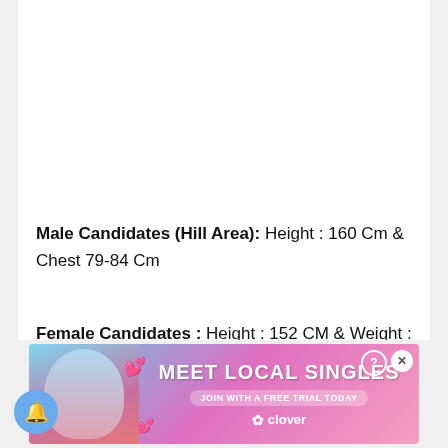Male Candidates (Hill Area): Height : 160 Cm & Chest 79-84 Cm
Female Candidates : Height : 152 CM & Weight : 47.5 Kg
[Figure (screenshot): Advertisement banner: Meet Local Singles - Join with a free trial today. Clover dating app ad with photo of woman, pink hearts, gradient background.]